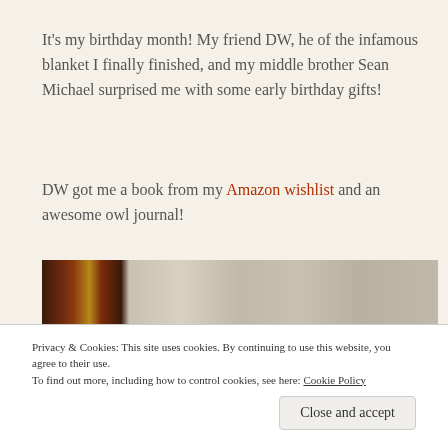It's my birthday month! My friend DW, he of the infamous blanket I finally finished, and my middle brother Sean Michael surprised me with some early birthday gifts!
DW got me a book from my Amazon wishlist and an awesome owl journal!
[Figure (photo): Close-up photo of a crocheted blanket with dark red, black, and yellow/gold granny square pattern on the left, and a white mesh/grid fabric on the right, possibly a book or journal]
Privacy & Cookies: This site uses cookies. By continuing to use this website, you agree to their use.
To find out more, including how to control cookies, see here: Cookie Policy
Close and accept